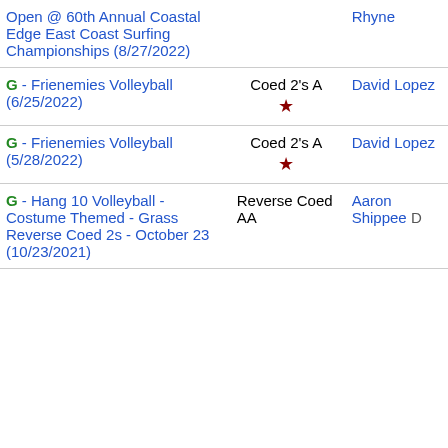| Event | Division | Contact |
| --- | --- | --- |
| Open @ 60th Annual Coastal Edge East Coast Surfing Championships (8/27/2022) |  | Rhyne |
| G - Frienemies Volleyball (6/25/2022) | Coed 2's A ★ | David Lopez |
| G - Frienemies Volleyball (5/28/2022) | Coed 2's A ★ | David Lopez |
| G - Hang 10 Volleyball - Costume Themed - Grass Reverse Coed 2s - October 23 (10/23/2021) | Reverse Coed AA | Aaron Shippee D |